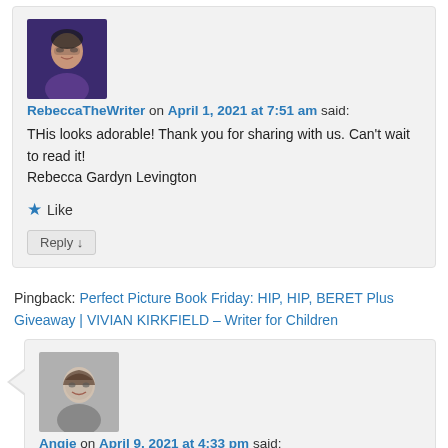[Figure (photo): Avatar photo of RebeccaTheWriter, a woman with glasses and short dark hair wearing a purple top]
RebeccaTheWriter on April 1, 2021 at 7:51 am said:
THis looks adorable! Thank you for sharing with us. Can't wait to read it!
Rebecca Gardyn Levington
★ Like
Reply ↓
Pingback: Perfect Picture Book Friday: HIP, HIP, BERET Plus Giveaway | VIVIAN KIRKFIELD – Writer for Children
[Figure (photo): Avatar photo of Angie, a woman with curly hair, smiling, in black and white]
Angie on April 9, 2021 at 4:33 pm said: